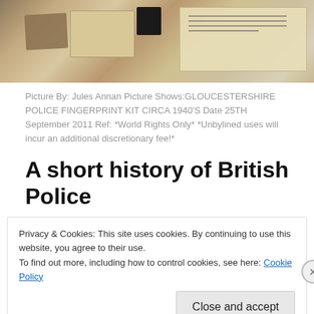[Figure (photo): Photograph showing a Gloucestershire Police fingerprint kit circa 1940s, with documents, cards, and a stamp on a white surface.]
Picture By: Jules Annan Picture Shows:GLOUCESTERSHIRE POLICE FINGERPRINT KIT CIRCA 1940'S Date 25TH September 2011 Ref: *World Rights Only* *Unbylined uses will incur an additional discretionary fee!*
A short history of British Police
Privacy & Cookies: This site uses cookies. By continuing to use this website, you agree to their use.
To find out more, including how to control cookies, see here: Cookie Policy
Close and accept